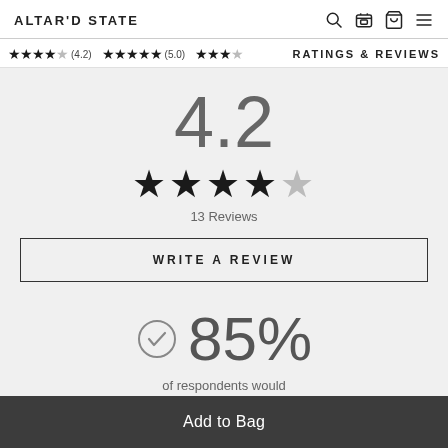ALTAR'D STATE
★★★★☆ (4.2)   ★★★★★ (5.0)   ★★★
RATINGS & REVIEWS
4.2
★★★★½  13 Reviews
WRITE A REVIEW
85%
of respondents would recommend this to a
Add to Bag